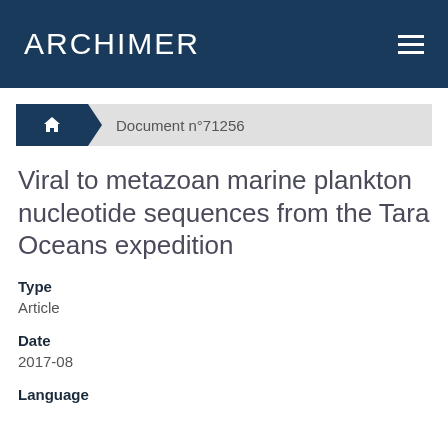ARCHIMER
Document n°71256
Viral to metazoan marine plankton nucleotide sequences from the Tara Oceans expedition
Type
Article
Date
2017-08
Language